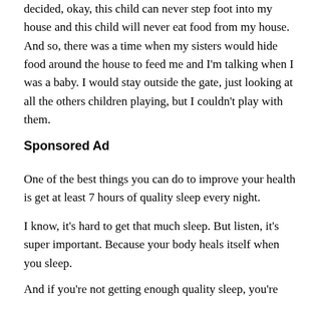decided, okay, this child can never step foot into my house and this child will never eat food from my house. And so, there was a time when my sisters would hide food around the house to feed me and I'm talking when I was a baby. I would stay outside the gate, just looking at all the others children playing, but I couldn't play with them.
Sponsored Ad
One of the best things you can do to improve your health is get at least 7 hours of quality sleep every night.
I know, it's hard to get that much sleep. But listen, it's super important. Because your body heals itself when you sleep.
And if you're not getting enough quality sleep, you're